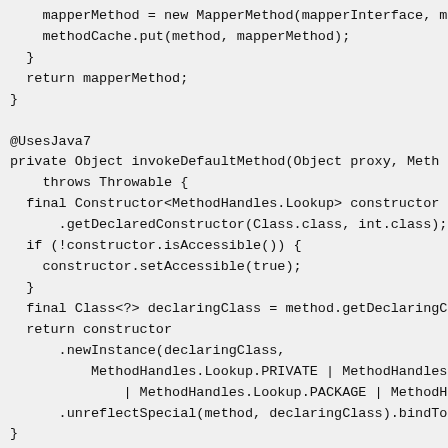mapperMethod = new MapperMethod(mapperInterface, me
    methodCache.put(method, mapperMethod);
  }
  return mapperMethod;
}

@UsesJava7
private Object invokeDefaultMethod(Object proxy, Meth
    throws Throwable {
  final Constructor<MethodHandles.Lookup> constructor
      .getDeclaredConstructor(Class.class, int.class);
  if (!constructor.isAccessible()) {
    constructor.setAccessible(true);
  }
  final Class<?> declaringClass = method.getDeclaringC
  return constructor
      .newInstance(declaringClass,
          MethodHandles.Lookup.PRIVATE | MethodHandles.Loc
              | MethodHandles.Lookup.PACKAGE | MethodHandles
      .unreflectSpecial(method, declaringClass).bindTo(p
}
/**
 * Backport of java.lang.reflect.Method#isDefault()
 */